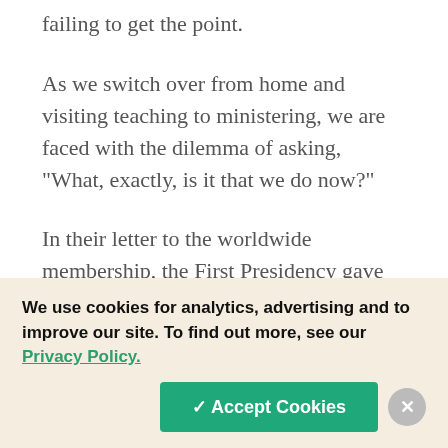failing to get the point.
As we switch over from home and visiting teaching to ministering, we are faced with the dilemma of asking, "What, exactly, is it that we do now?"
In their letter to the worldwide membership, the First Presidency gave us a definition of ministering: “Ministering is Christlike caring for others and helping meet their spiritual and temporal needs.” Ministering should be…
We use cookies for analytics, advertising and to improve our site. To find out more, see our Privacy Policy.